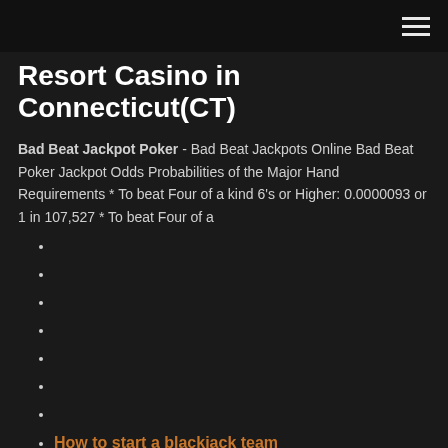Resort Casino in Connecticut(CT)
Bad Beat Jackpot Poker - Bad Beat Jackpots Online Bad Beat Poker Jackpot Odds Probabilities of the Major Hand Requirements * To beat Four of a kind 6's or Higher: 0.0000093 or 1 in 107,527 * To beat Four of a
How to start a blackjack team